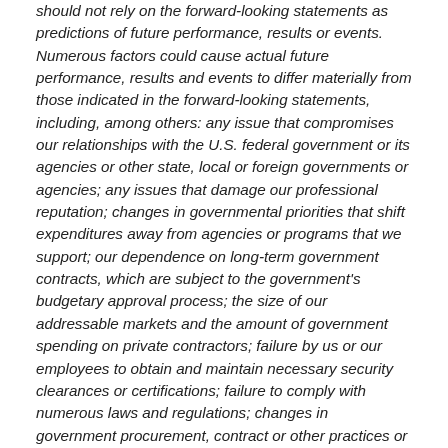should not rely on the forward-looking statements as predictions of future performance, results or events. Numerous factors could cause actual future performance, results and events to differ materially from those indicated in the forward-looking statements, including, among others: any issue that compromises our relationships with the U.S. federal government or its agencies or other state, local or foreign governments or agencies; any issues that damage our professional reputation; changes in governmental priorities that shift expenditures away from agencies or programs that we support; our dependence on long-term government contracts, which are subject to the government's budgetary approval process; the size of our addressable markets and the amount of government spending on private contractors; failure by us or our employees to obtain and maintain necessary security clearances or certifications; failure to comply with numerous laws and regulations; changes in government procurement, contract or other practices or the adoption by